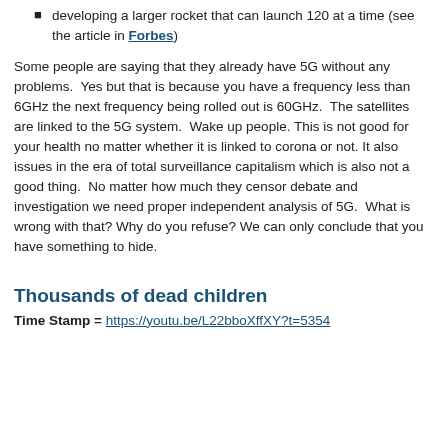developing a larger rocket that can launch 120 at a time (see the article in Forbes)
Some people are saying that they already have 5G without any problems.  Yes but that is because you have a frequency less than 6GHz the next frequency being rolled out is 60GHz.  The satellites are linked to the 5G system.  Wake up people. This is not good for your health no matter whether it is linked to corona or not. It also issues in the era of total surveillance capitalism which is also not a good thing.  No matter how much they censor debate and investigation we need proper independent analysis of 5G.  What is wrong with that? Why do you refuse? We can only conclude that you have something to hide.
Thousands of dead children
Time Stamp = https://youtu.be/L22bboXffXY?t=5354